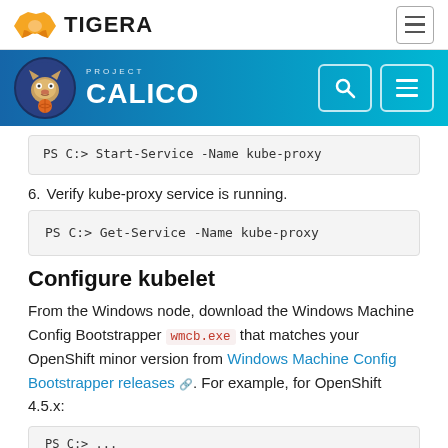TIGERA
[Figure (logo): Project Calico banner with logo and navigation buttons]
PS C:> Start-Service -Name kube-proxy
6. Verify kube-proxy service is running.
PS C:> Get-Service -Name kube-proxy
Configure kubelet
From the Windows node, download the Windows Machine Config Bootstrapper wmcb.exe that matches your OpenShift minor version from Windows Machine Config Bootstrapper releases. For example, for OpenShift 4.5.x:
PS C:> ...